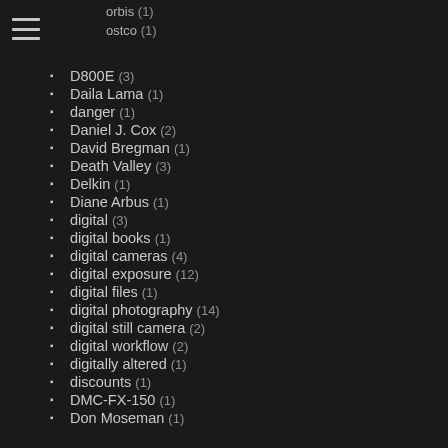orbis (1)
ostco (1)
D800E (3)
Daila Lama (1)
danger (1)
Daniel J. Cox (2)
David Bregman (1)
Death Valley (3)
Delkin (1)
Diane Arbus (1)
digital (3)
digital books (1)
digital cameras (4)
digital exposure (12)
digital files (1)
digital photography (14)
digital still camera (2)
digital workflow (2)
digitally altered (1)
discounts (1)
DMC-FX-150 (1)
Don Moseman (1)